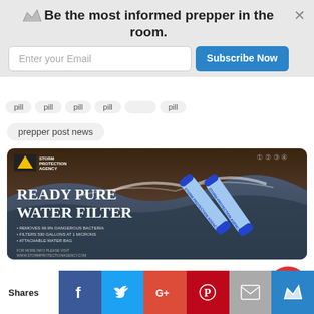Be the most informed prepper in the room.
[Figure (screenshot): Email subscription banner with crown icon, email input field, and Subscribe Now button]
prepper post news
[Figure (illustration): Ready Pure Water Filter advertisement by Storm Protection Agency showing two blue water filter straws against dramatic ocean wave background. Text: READY PURE WATER FILTER. Bullet points: REMOVES 99.9% DANGEROUS BACTERIA, FILTERS 530 GALLONS AT 1 MICRONS, ATTACHABLE WATER BAG. Website: WWW.STORMPROTECTIONAGENCY.COM]
Thank you for visiting. You can now buy us a coffee!
Shares | Facebook | Twitter | Google+ | Pinterest | Email | Crown